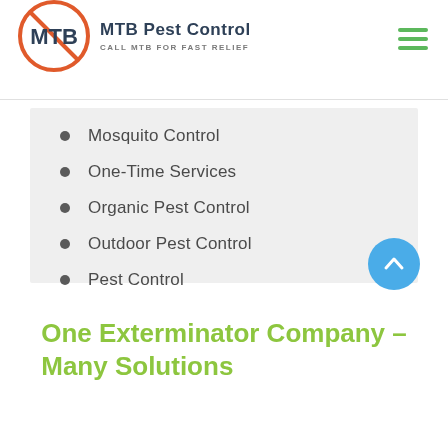MTB Pest Control — CALL MTB FOR FAST RELIEF
Mosquito Control
One-Time Services
Organic Pest Control
Outdoor Pest Control
Pest Control
Pest Exclusion
Prevention Treatments
One Exterminator Company – Many Solutions